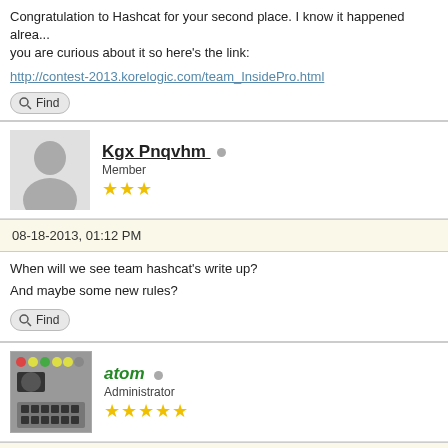Congratulation to Hashcat for your second place. I know it happened already but if you are curious about it so here's the link:
http://contest-2013.korelogic.com/team_InsidePro.html
Find
Kgx Pnqvhm
Member
★★★
08-18-2013, 01:12 PM
When will we see team hashcat's write up?
And maybe some new rules?
Find
atom
Administrator
★★★★★
08-19-2013, 03:42 PM
Hey mastercracker, congrats to your first place! Your writeup is great I noticed...